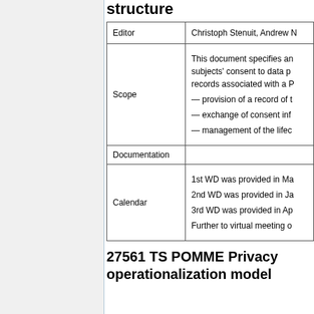structure
|  |  |
| --- | --- |
| Editor | Christoph Stenuit, Andrew ... |
| Scope | This document specifies an... subjects' consent to data p... records associated with a P...
— provision of a record of t...
— exchange of consent inf...
— management of the lifec... |
| Documentation |  |
| Calendar | 1st WD was provided in Ma...
2nd WD was provided in Ja...
3rd WD was provided in Ap...
Further to virtual meeting o... |
27561 TS POMME Privacy operationalization model